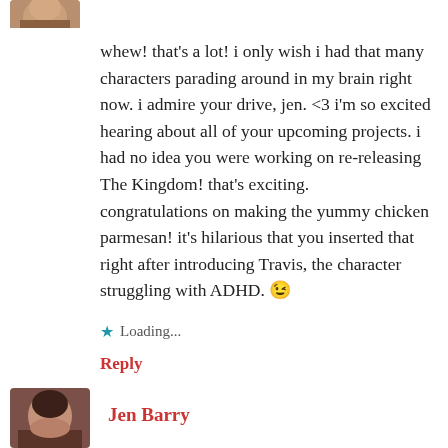[Figure (photo): Partial avatar image at top left, cropped person's face/shoulder]
whew! that's a lot! i only wish i had that many characters parading around in my brain right now. i admire your drive, jen. <3 i'm so excited hearing about all of your upcoming projects. i had no idea you were working on re-releasing The Kingdom! that's exciting.
congratulations on making the yummy chicken parmesan! it's hilarious that you inserted that right after introducing Travis, the character struggling with ADHD. 😉
★ Loading...
Reply
[Figure (photo): Avatar photo of Jen Barry, woman with dark hair]
Jen Barry